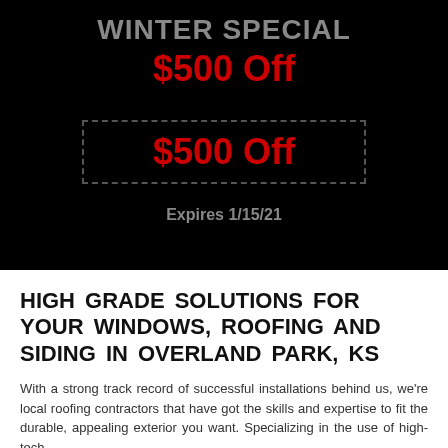WINTER SPECIAL
$500 Off
$500 Off
Expires 1/15/21
HIGH GRADE SOLUTIONS FOR YOUR WINDOWS, ROOFING AND SIDING IN OVERLAND PARK, KS
With a strong track record of successful installations behind us, we're local roofing contractors that have got the skills and expertise to fit the durable, appealing exterior you want. Specializing in the use of high-tech,